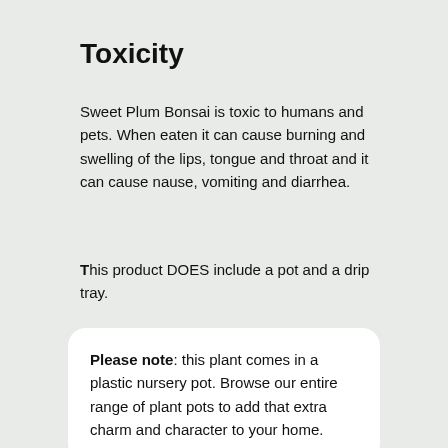Toxicity
Sweet Plum Bonsai is toxic to humans and pets. When eaten it can cause burning and swelling of the lips, tongue and throat and it can cause nause, vomiting and diarrhea.
This product DOES include a pot and a drip tray.
Please note: this plant comes in a plastic nursery pot. Browse our entire range of plant pots to add that extra charm and character to your home.